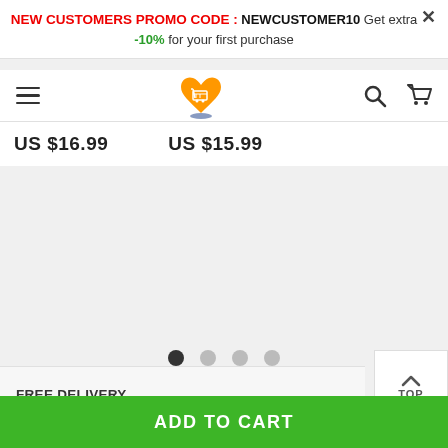NEW CUSTOMERS PROMO CODE : NEWCUSTOMER10 Get extra -10% for your first purchase
[Figure (logo): Shopping cart heart logo in orange and blue]
US $16.99   US $15.99
[Figure (other): Carousel pagination dots, 4 dots with first one active]
FREE DELIVERY
TOP
ADD TO CART